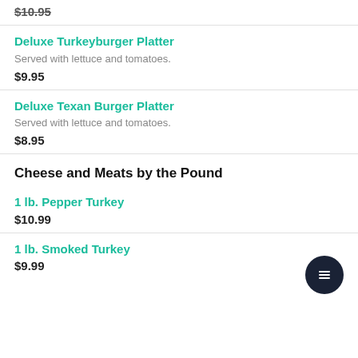$10.95
Deluxe Turkeyburger Platter
Served with lettuce and tomatoes.
$9.95
Deluxe Texan Burger Platter
Served with lettuce and tomatoes.
$8.95
Cheese and Meats by the Pound
1 lb. Pepper Turkey
$10.99
1 lb. Smoked Turkey
$9.99